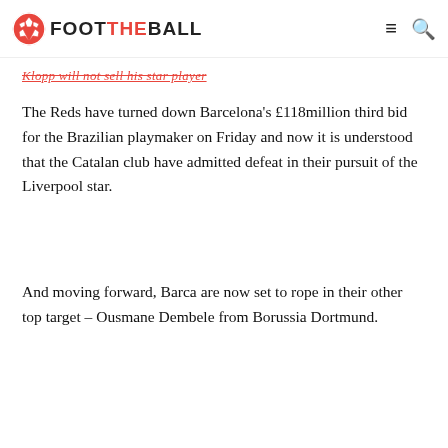FOOT THE BALL
Klopp will not sell his star player
The Reds have turned down Barcelona's £118million third bid for the Brazilian playmaker on Friday and now it is understood that the Catalan club have admitted defeat in their pursuit of the Liverpool star.
And moving forward, Barca are now set to rope in their other top target – Ousmane Dembele from Borussia Dortmund.